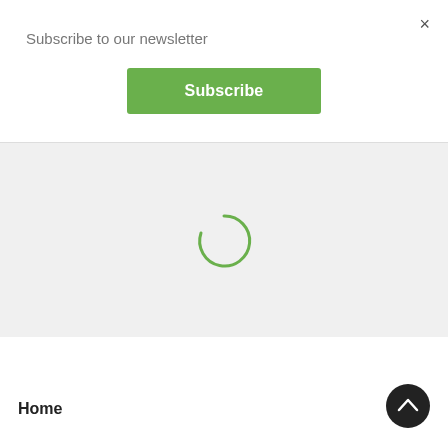×
Subscribe to our newsletter
Subscribe
[Figure (infographic): Gray loading area with a green spinning/loading circle arc indicator in the center]
Home
[Figure (other): Dark circle back-to-top button with upward chevron arrow]